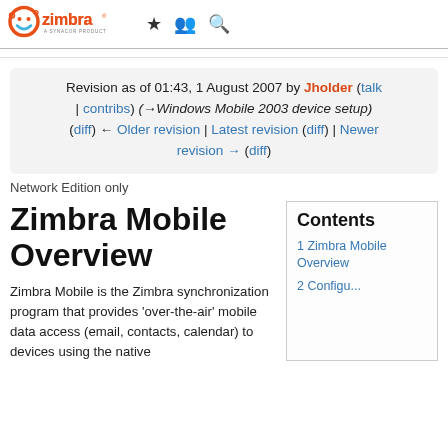Zimbra – A Synacor Product [navigation icons: star, people, search]
Revision as of 01:43, 1 August 2007 by Jholder (talk | contribs) (→Windows Mobile 2003 device setup)
(diff) ← Older revision | Latest revision (diff) | Newer revision → (diff)
Network Edition only
Zimbra Mobile Overview
Zimbra Mobile is the Zimbra synchronization program that provides 'over-the-air' mobile data access (email, contacts, calendar) to devices using the native
Contents
1 Zimbra Mobile Overview
2 Configure...